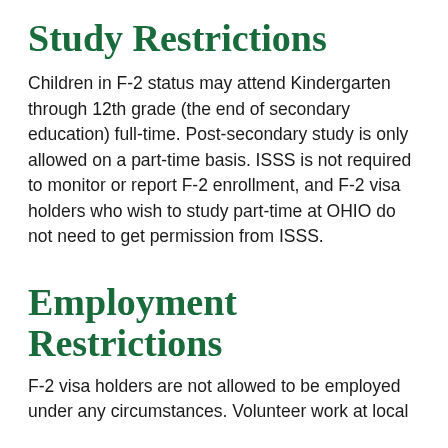Study Restrictions
Children in F-2 status may attend Kindergarten through 12th grade (the end of secondary education) full-time. Post-secondary study is only allowed on a part-time basis. ISSS is not required to monitor or report F-2 enrollment, and F-2 visa holders who wish to study part-time at OHIO do not need to get permission from ISSS.
Employment Restrictions
F-2 visa holders are not allowed to be employed under any circumstances. Volunteer work at local